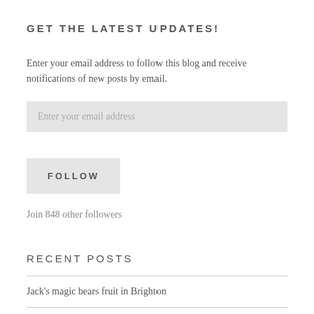GET THE LATEST UPDATES!
Enter your email address to follow this blog and receive notifications of new posts by email.
Enter your email address
FOLLOW
Join 848 other followers
RECENT POSTS
Jack's magic bears fruit in Brighton